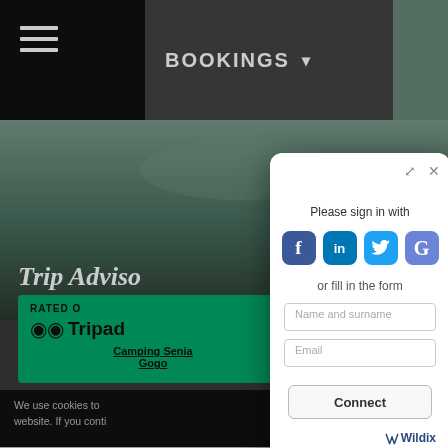BOOKINGS ▾
[Figure (screenshot): Background website page with beach/camping imagery, TripAdvisor badge, and cookie consent bar]
Please sign in with
[Figure (infographic): Four social login icons: Facebook (f), LinkedIn (in), Twitter (bird), Google (G)]
or fill in the form
Name and surname
Email
Connect
Wildix